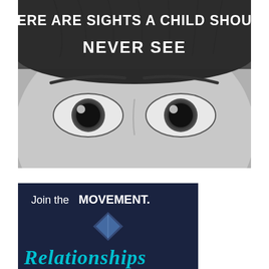[Figure (photo): Black and white close-up photo of a child's eyes and forehead with text overlay at top reading 'THERE ARE SIGHTS A CHILD SHOULD NEVER SEE']
[Figure (infographic): Dark navy banner with text 'Join the MOVEMENT.' and a blue diamond/triangle geometric logo above the word 'RELATIONSHIPS' in large cyan italic script]